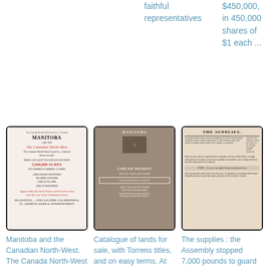faithful representatives
$450,000, in 450,000 shares of $1 each ...
[Figure (photo): Cover of Manitoba and the Canadian North-West booklet showing title and land sale information]
Manitoba and the Canadian North-West. The Canada North-West Land Co., Ltd. offer for sale without
[Figure (photo): Cover of Manitoba Catalogue of lands for sale pamphlet showing Cheap Homes text]
Catalogue of lands for sale, with Torrens titles, and on easy terms. At the office of G.E. Fulthorp ... Over
[Figure (photo): The Supplies newspaper/document showing text columns]
The supplies : the Assembly stopped 7,000 pounds to guard the rights of the people ; Sir F.B. Head